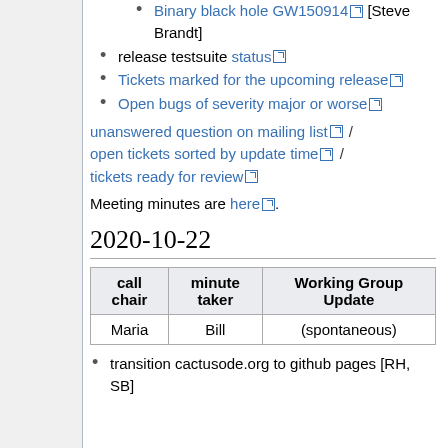Binary black hole GW150914 [Steve Brandt]
release testsuite status
Tickets marked for the upcoming release
Open bugs of severity major or worse
unanswered question on mailing list / open tickets sorted by update time / tickets ready for review
Meeting minutes are here.
2020-10-22
| call chair | minute taker | Working Group Update |
| --- | --- | --- |
| Maria | Bill | (spontaneous) |
transition cactusode.org to github pages [RH, SB]